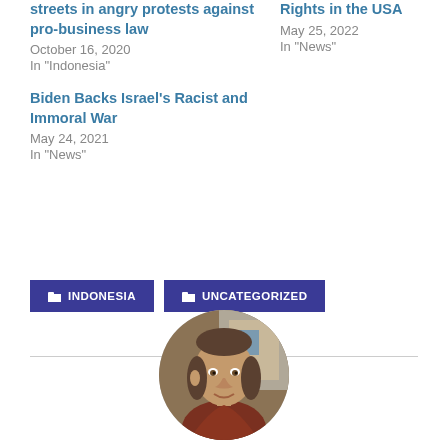streets in angry protests against pro-business law
October 16, 2020
In "Indonesia"
Rights in the USA
May 25, 2022
In "News"
Biden Backs Israel's Racist and Immoral War
May 24, 2021
In "News"
INDONESIA
UNCATEGORIZED
[Figure (photo): Circular portrait photo of a middle-aged man with shoulder-length hair, wearing a red/brown jacket, photographed outdoors]